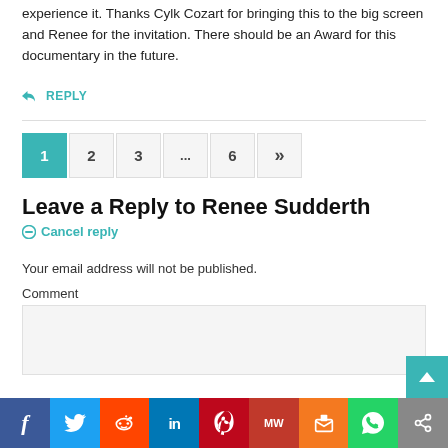experience it. Thanks Cylk Cozart for bringing this to the big screen and Renee for the invitation. There should be an Award for this documentary in the future.
↩ REPLY
Pagination: 1 2 3 ... 6 »
Leave a Reply to Renee Sudderth
⊘ Cancel reply
Your email address will not be published.
Comment
f  Twitter  Reddit  in  Pinterest  MW  Mix  WhatsApp  Share